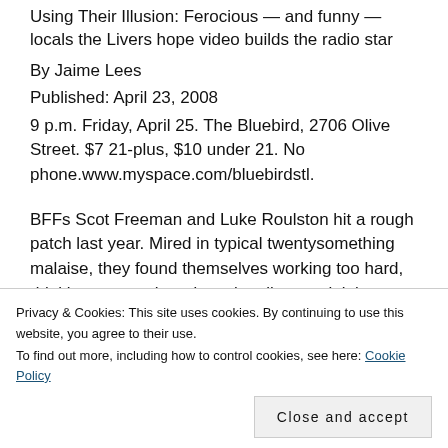Using Their Illusion: Ferocious — and funny — locals the Livers hope video builds the radio star
By Jaime Lees
Published: April 23, 2008
9 p.m. Friday, April 25. The Bluebird, 2706 Olive Street. $7 21-plus, $10 under 21. No phone.www.myspace.com/bluebirdstl.
BFFs Scot Freeman and Luke Roulston hit a rough patch last year. Mired in typical twentysomething malaise, they found themselves working too hard, drinking too much and continually complaining about
bromance, these multi-instrumentalists decided to quit
Privacy & Cookies: This site uses cookies. By continuing to use this website, you agree to their use.
To find out more, including how to control cookies, see here: Cookie Policy
Close and accept